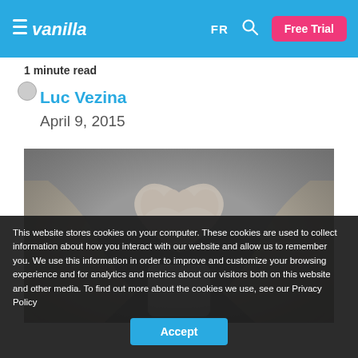Vanilla — FR | Free Trial
1 minute read
Luc Vezina
April 9, 2015
[Figure (photo): Black and white photo of a person's hands forming a heart shape over a paper cup]
This website stores cookies on your computer. These cookies are used to collect information about how you interact with our website and allow us to remember you. We use this information in order to improve and customize your browsing experience and for analytics and metrics about our visitors both on this website and other media. To find out more about the cookies we use, see our Privacy Policy
Accept